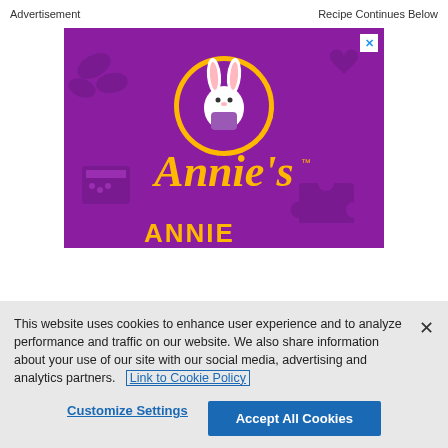Advertisement    Recipe Continues Below
[Figure (logo): Annie's brand advertisement with purple background showing a bunny logo in a circular 'Bunny of Approval' badge and the Annie's brand name in yellow italic text]
This website uses cookies to enhance user experience and to analyze performance and traffic on our website. We also share information about your use of our site with our social media, advertising and analytics partners.  Link to Cookie Policy
Customize Settings    Accept All Cookies